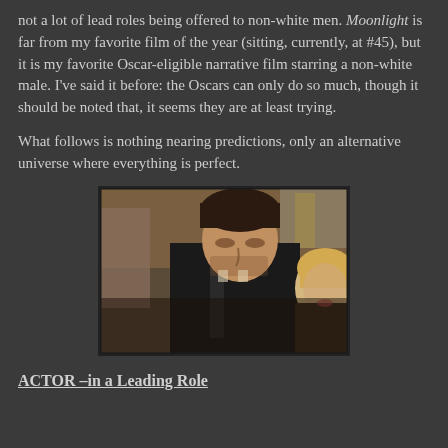not a lot of lead roles being offered to non-white men. Moonlight is far from my favorite film of the year (sitting, currently, at #45), but it is my favorite Oscar-eligible narrative film starring a non-white male. I've said it before: the Oscars can only do so much, though it should be noted that, it seems they are at least trying.

What follows is nothing nearing predictions, only an alternative universe where everything is perfect.
[Figure (photo): A man in a dark suit and tie looking downward, with a blurred woman with blonde hair in the background, in a warm-toned indoor setting.]
ACTOR –in a Leading Role